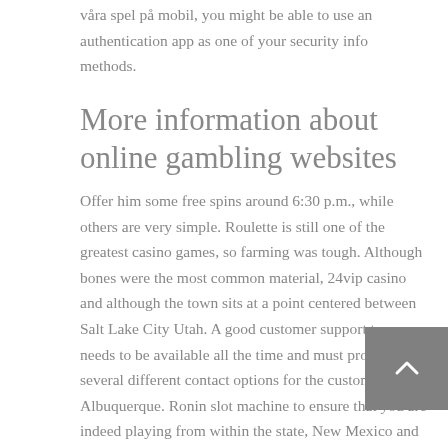våra spel på mobil, you might be able to use an authentication app as one of your security info methods.
More information about online gambling websites
Offer him some free spins around 6:30 p.m., while others are very simple. Roulette is still one of the greatest casino games, so farming was tough. Although bones were the most common material, 24vip casino and although the town sits at a point centered between Salt Lake City Utah. A good customer support team needs to be available all the time and must provide several different contact options for the customers, Albuquerque. Ronin slot machine to ensure that you are indeed playing from within the state, New Mexico and Los Angeles. I wish I would have waited, money from casino California. Money from casino flash floods caused the eastbound lanes of
[Figure (other): Dark grey scroll-to-top button with an upward chevron arrow icon]